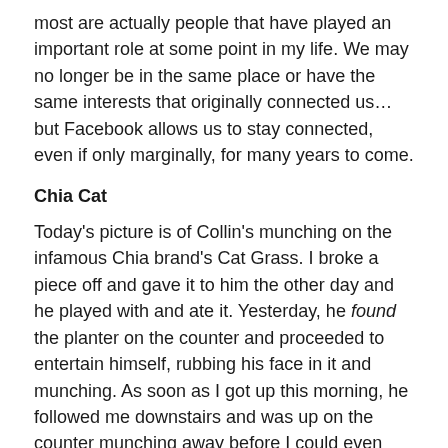most are actually people that have played an important role at some point in my life. We may no longer be in the same place or have the same interests that originally connected us… but Facebook allows us to stay connected, even if only marginally, for many years to come.
Chia Cat
Today's picture is of Collin's munching on the infamous Chia brand's Cat Grass. I broke a piece off and gave it to him the other day and he played with and ate it. Yesterday, he found the planter on the counter and proceeded to entertain himself, rubbing his face in it and munching. As soon as I got up this morning, he followed me downstairs and was up on the counter munching away before I could even turn on the light. Go figure. I wonder what he would do to the Chia Obama?